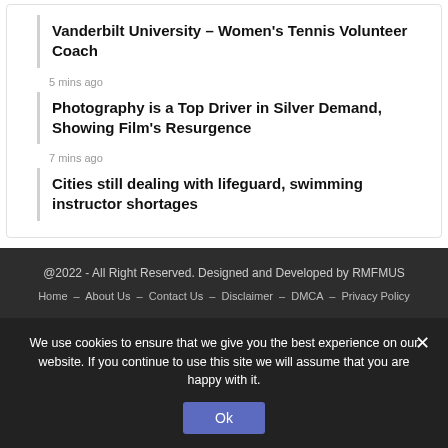Vanderbilt University – Women's Tennis Volunteer Coach
5 mins ago
Photography is a Top Driver in Silver Demand, Showing Film's Resurgence
7 mins ago
Cities still dealing with lifeguard, swimming instructor shortages
@2022 - All Right Reserved. Designed and Developed by RMFMUS
Home   About Us   Contact Us   Disclaimer   DMCA   Privacy Policy
We use cookies to ensure that we give you the best experience on our website. If you continue to use this site we will assume that you are happy with it.
Ok